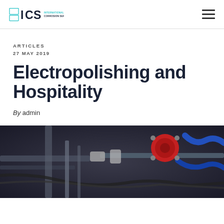ICS International Corrosion Services
ARTICLES
27 MAY 2019
Electropolishing and Hospitality
By admin
[Figure (photo): Close-up photograph of industrial machinery with pipes, valves, and fittings including a prominent red component and blue hoses/pipes]